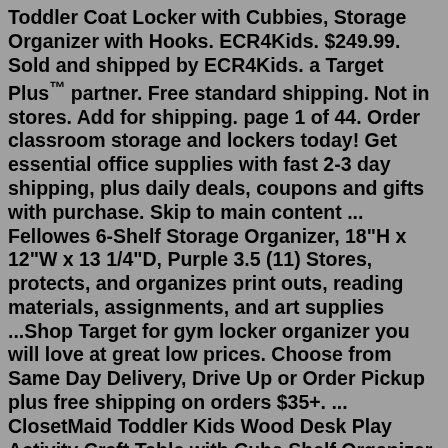Toddler Coat Locker with Cubbies, Storage Organizer with Hooks. ECR4Kids. $249.99. Sold and shipped by ECR4Kids. a Target Plus™ partner. Free standard shipping. Not in stores. Add for shipping. page 1 of 44. Order classroom storage and lockers today! Get essential office supplies with fast 2-3 day shipping, plus daily deals, coupons and gifts with purchase. Skip to main content ... Fellowes 6-Shelf Storage Organizer, 18"H x 12"W x 13 1/4"D, Purple 3.5 (11) Stores, protects, and organizes print outs, reading materials, assignments, and art supplies ...Shop Target for gym locker organizer you will love at great low prices. Choose from Same Day Delivery, Drive Up or Order Pickup plus free shipping on orders $35+. ... ClosetMaid Toddler Kids Wood Desk Play Activity Craft Table with Cube Shelf Organizer Storage for School Supplies, Books and Toys, White. ClosetMaid. $127.39. reg $154.99. Sale ...The Lakeside Collection buy online & pick up in stores shipping same day delivery include out of stock Benches Bin Shelves Closet Shelves Cubbies Decorative Storage...